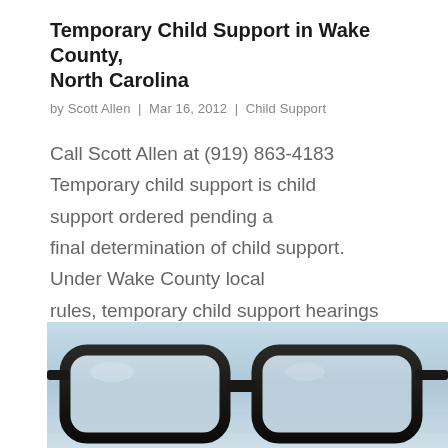Temporary Child Support in Wake County, North Carolina
by Scott Allen | Mar 16, 2012 | Child Support
Call Scott Allen at (919) 863-4183 Temporary child support is child support ordered pending a final determination of child support. Under Wake County local rules, temporary child support hearings are limited in duration to one hour of court time. Temporary child…
[Figure (photo): Close-up photo of dark-framed eyeglasses resting on a surface, with a blurred background of papers or documents.]